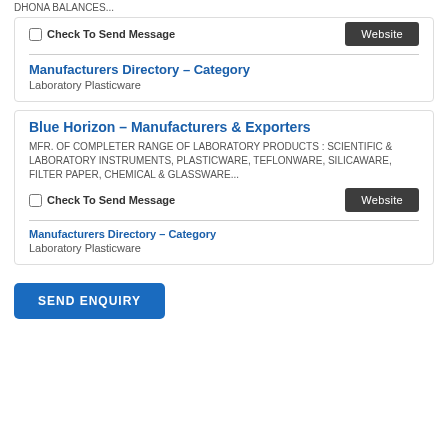DHONA BALANCES...
Check To Send Message
Website
Manufacturers Directory – Category
Laboratory Plasticware
Blue Horizon – Manufacturers & Exporters
MFR. OF COMPLETER RANGE OF LABORATORY PRODUCTS : SCIENTIFIC & LABORATORY INSTRUMENTS, PLASTICWARE, TEFLONWARE, SILICAWARE, FILTER PAPER, CHEMICAL & GLASSWARE...
Check To Send Message
Website
Manufacturers Directory – Category
Laboratory Plasticware
SEND ENQUIRY